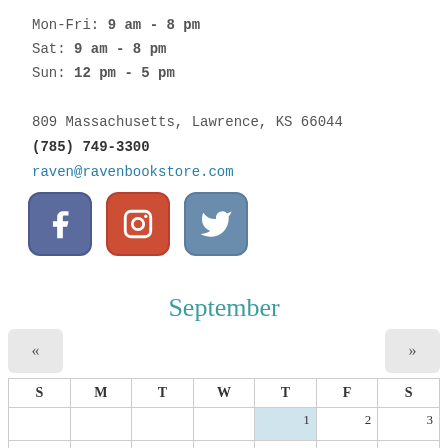Mon-Fri: 9 am - 8 pm
Sat: 9 am - 8 pm
Sun: 12 pm - 5 pm
809 Massachusetts, Lawrence, KS 66044
(785) 749-3300
raven@ravenbookstore.com
[Figure (other): Social media icons: Facebook (blue square with f), Instagram (red-orange square with camera), Twitter (steel blue square with bird)]
September
| S | M | T | W | T | F | S |
| --- | --- | --- | --- | --- | --- | --- |
|  |  |  |  | 1 | 2 | 3 |
| 4 | 5 | 6 | 7 | 8 | 9 | 10 |